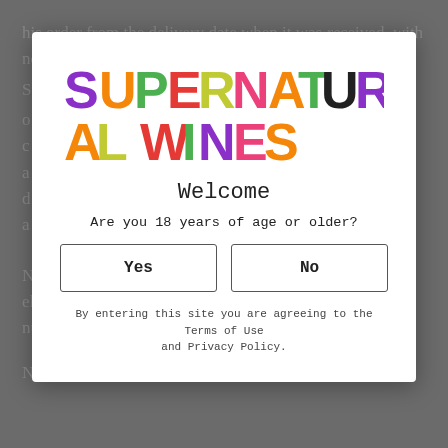his order from the delivery date when it was received... showed... No package missing any of the sender's identifying elements (complete name, address and purchase order number) will be accepted. Nevertheless, if your order is flawed because of a
[Figure (screenshot): Age verification modal overlay for Supernatural Wines website with colorful logo, Welcome heading, age question, Yes/No buttons, and terms notice]
Welcome
Are you 18 years of age or older?
Yes
No
By entering this site you are agreeing to the Terms of Use and Privacy Policy.